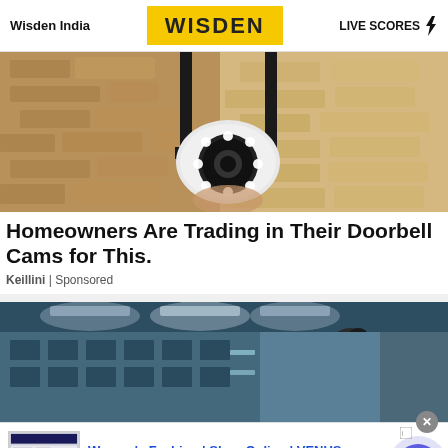Wisden India | WISDEN | LIVE SCORES
[Figure (photo): Security camera mounted on wall bracket against a stone/brick wall background]
Homeowners Are Trading in Their Doorbell Cams for This.
Keillini | Sponsored
[Figure (photo): Woman working in an industrial/laboratory setting with blue lighting]
[Figure (screenshot): Bottom advertisement banner: Women's Fashion | Shop Online | VENUS - Shop the best in women's fashion, clothing, swimwear - venus.com]